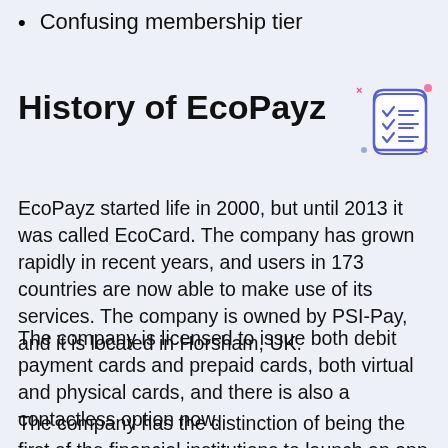Confusing membership tier
History of EcoPayz
[Figure (illustration): Decorative icon of a checklist/document scroll with checkmarks, rendered in blue/purple outline style with small red/pink x and dot accents around it]
EcoPayz started life in 2000, but until 2013 it was called EcoCard. The company has grown rapidly in recent years, and users in 173 countries are now able to make use of its services. The company is owned by PSI-Pay, and it is located in Horsham, UK.
The company is licensed to issue both debit payment cards and prepaid cards, both virtual and physical cards, and there is also a contactless option now.
The company has the distinction of being the first of the financial institutions to launch an app for the